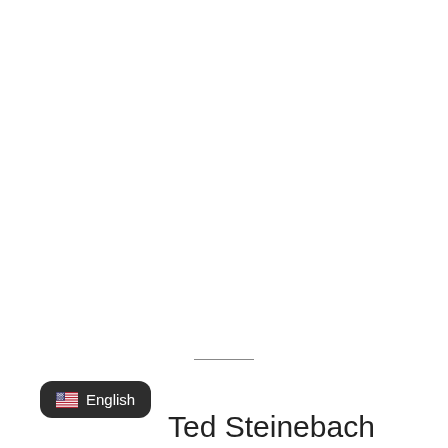[Figure (other): Horizontal divider line centered on page near bottom]
[Figure (other): Dark rounded rectangle badge with US flag emoji and text 'English']
Ted Steinebach